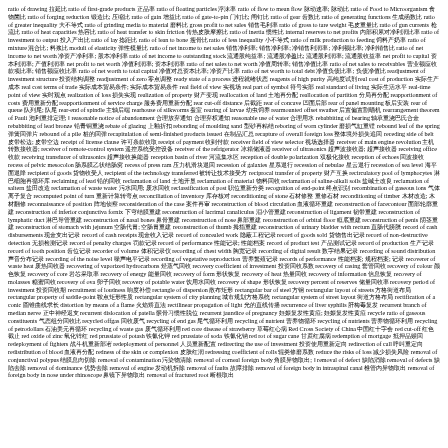ratio of drawing 拉延比 ratio of first-grade products 正品率 ratio of floating particles 浮沫率 ratio of flow to mean flow 脉动速率; 脉动比 ratio of Food to Microorganism 食物菌比 ratio of forging reduction 锻造比; 压缩比 ratio of gain 增益比 ratio of gate-to-pin 门钉比; 闸钉比 ratio of gear 齿数比 ratio of generating functions 生成函数比 ratio of greater inequality 大不等式 ratio of grinding media to material 磨料比 gross profit to net sales 销售毛利率 ratio of gross to tare weight 毛皮重量比 ratio of gun currents 枪流比 ratio of heat capacities 热容比 ratio of heat transfer to skin friction 传热皮肤摩擦比 ratio of inertia 惯性比 internal reserves to net profits 内部积累对净利润比率 ratio of investment to output 投入产出比 ratio of lay 捻距比 ratio of lean to bone 瘦骨比 ratio of less inequality 小不等式 ratio of milk production to feeding 饲料产奶率 ratio of mixture 混合比; 料浆比 moduli of elasticity 弹性模量比 ratio of net income to net sales 销售净利率; 销售净利率; 净销售利润率; 净利额比率; 净利销售比 ratio of net income to net worth 净资产净利率; 股本净利率 ratio of net income to outstanding stock 流通股纯益率; 流通股净盈比; 流通股利润率; 流通股收益率 net profit to capital 资本利润率; 产值利润率 net profit to net worth 净值利润率; 资本利润率 ratio of net sales to net worth 净值周转率; 销售净值比率 ratio of net sales to receivables 营业额应收款项比率; 销售额应收比率 ratio of net worth to total capital 净值对总资本比率; 净资产比率 ratio of net worth to total debt 净值负债比率; 负债净值比 readjustment of investment structure 投资结构调整 readjustment of zero 零点调整 ready state of a process 进程就绪状态 reagents of high purity 高纯度试剂 real cost of production 实际生产成本 real cost terms of trade 实际成本贸易条件; 实际成本贸易条件 real field of view 实视场 real part of symbol 符号实部 real standard of living 实际生活水平 real-time point of view 实时观点 realization of loss 损失实现 realization of property 财产变现 reallocation of land 土地再分配 reallocation of partition 分局再分配 reapportionment of costs 费用重新分配 reapportionment of service charge 服务费用重新分配 rear cut-off distance 后截距 rear of concave 凹面后部 rear of panel mounting 板后安装 rear of queue 队列尾; 队尾 rear-end of spindle 主轴后端 rearhouse of silkworms 蚕室 rearing of larvae 幼虫饲养 rearmounted offset swather 后置偏置割晒机 rearrangement theorem of Pauli 泡利重排定理; Ⅰ reasonable notice of abandonment 合理放弃通知 合理弃权通知 reasonable use of water 合理用水 rebabbiting of bearing 轴承重浇巴氏合金 rebabbiting of lead bronze 铅青铜重浇 rebate of glazing 上釉折扣 rebonding of moulding sand 型砂再粘结 reboring of worn cylinder 磨损气缸重镗 rebound leaf of the spring 弹簧回弹片 rebound of a pile 桩的回弹 recapitulation of semi-finished products issued 在制品汇总 recapture of overall foreign loss 整体境外损失追回 receding side of belt 皮带松边; 皮带空边 receipt of license clause 许可条款收取 receipt of payment 收到付款 receiver field of view selector 视场选择器 receiver of main engine revolution 主机转数接收器; receiver of remote-control system 遥控系统受控设备 receiver of the refrigerator 冰箱储液器 receiver of ultrasonics 超声波接收器; 超声接收器 receiving office 收款 receiving transducer of ultrasonics 超声接收换能器 reception basin of river 河流集水区 reception of double polarization 双极化接收 reception of echoes 回波接收 recess of pelvic mesocolon 肠系膜乙状结肠窝 recess of press ram 压力机滑块退回 recession of galaxies 星系退行 recession of nebulae 星云退行 recession of sea level 海平面退降 recipient of goods 货物收受人 recipient of the technology transferred 被转让技术接受方 reciprocal transfer of property 财产互换 recirculatory pool of lymphocytes 淋巴细胞再循环库 reclaiming of lead 铅的回收 reclamation of land 土地开垦 reclamation of material 物料回收 reclamation of saline-alkali soils 盐碱土改良 reclamation of saltern 盐田改造 reclamation of waste water 污水回用; 废水回收 reclassification of post 职位重新分类 recognition of end-point 终点识别 recombination of gaseous ions 气体离子复合 recomputed point of turn 重新计算转弯点 reconciliation of inventory 库存核对 reconditioning of stone 石材修整 重修石材 reconditioning of timber 木材改造; 木材翻修 reconnaissance of position 阵地侦察 reconsideration of the case 案件再审 reconstruction of blood circulation 血液循环重建 reconstruction of facecontour 面部轮廓重建 reconstruction of inferior conjunctiva fornix 下穹结膜重建 reconstruction of lacrimal canaliculus 泪小管重建 reconstruction of ligament 韧带重建 reconstruction of lymphatic duct 淋巴导管重建 reconstruction of nasal bones 鼻骨重建 reconstruction of nose 鼻部重建 reconstruction of orbital floor 眶底重建 reconstruction of penis 阴茎重建 reconstruction of stomach with jejunum 空肠代胃; 空肠胃重建 reconstruction of thumb 拇指重建 reconstruction of urinary bladder with rectum 直肠代膀胱 record of cash disbursements 现金支出记录 record of cash receipts 现金收入记录 record of concealed work 隐蔽工程记录 record of goods sold 货物售出记录 record of non-destructive detection 无损检测记录 record of penalty charges 罚款记录 record of performance 性能记录; 性能档案 record of product test 产品测试记录 record of production 生产记录 record of tooth position 齿位记录 recorder of volume 体积记录仪 recording of chest width 胸宽记录 recording of digital result 数字结果记录 recording of sound distribution 声音分布记录 recording of the noise level 噪声电平记录 recording of vegetative reproduction 营养繁殖记录 records of performance 性能档案; 规程档案; 记录 recoverer of waste heat 废热回收器 recovering of vaporized hydrocarbons 烃蒸气回收 recovery coefficient of investment 投资回收系数 recovery of casing 套管回收 recovery of colour 颜色恢复 recovery of core 岩芯采取率 recovery of energy 能量回收 recovery of form 形状恢复 recovery of heat 热量回收 recovery of information 信息恢复 recovery of molasses 糖蜜回收 recovery of ova 卵子回收 recovery of potable water 饮用水回收 recovery of shape 形状恢复 recovery percent of reserves 储量回收率 recovery period of investment 投资回收期 recruitment of loudness 响度补偿 rectangle of dispersion 散布矩形 rectangular bar of steel 方钢 rectangular layout of streets 方格街道布局 rectangular property of saddle-point 鞍点矩形性质 rectangular system of city planning 城市规划方格系统 rectangular system of street layout 街道方格布局 rectification of a conic 圆锥曲线求长 distortion by means of a flame 火焰矫直法 rectilinear propagation of light 光的直线传播 recurrence of liver syphilis 肝梅毒复发 recurrent branch of median nerve 正中神经返支 recurrent dislocation of patella 髌骨习惯性脱位 recurrent jaundice of pregnancy 妊娠复发性黄疸; 妊娠复发性黄疸 recycle ratio of gaseous constituents 气态组分回收比 recycled offgas 回收废气 recycling of end gas 尾气循环利用 recycling of nutrient 营养物循环 recycling of nutrients 营养物循环利用 recycling of petrodollars 石油美元再循环 recycling of waste gas 废气循环利用 red core disease of strawberry 草莓红心病 Red Cross Society of China 中国红十字会 red cut-off 红色截止 red oxide of zinc 氧化锌红 red prussiate of potash 铁氰化钾 red prussiate of soda 铁氰化钠 red rot of sugar cane 甘蔗红腐病 redemption of mortgage 抵押品赎回 redeployment of fighters 战斗机重新部署 redeployment of personnel 人员重新配置 redirecting the use of investment 投资使用重新定向 redirection of call 呼叫重定向 redistribution of blood 血液再分配 redness of the skin or complexion 皮肤红润 redressing coefficient of rolls 辊类修磨系数 reduce the risks of loss 减少损失风险 removal of conjunctival polypus 结膜息肉切除 removal of contamination 污染物清除 removal of corneal foreign body 角膜异物取出; Ⅰ removal of defect 缺陷消除 removal of defects 缺陷去除 removal of dominance 优势去除 removal of engine 发动机拆除 removal of faults 故障排除 removal of foreign body in intraspinal canal 椎管内异物取出 removal of foreign body in nose under rhinoscope 鼻镜下异物取出 removal of fractured root 断根取出